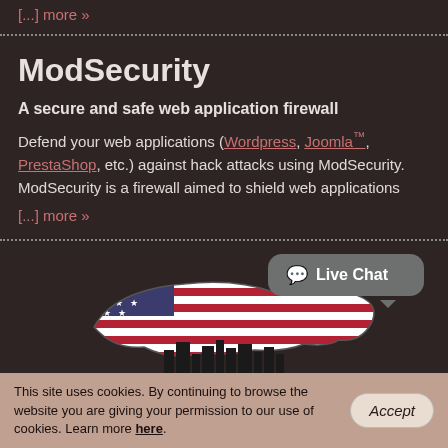[...] more »
ModSecurity
A secure and safe web application firewall
Defend your web applications (Wordpress, Joomla™, PrestaShop, etc.) against hack attacks using ModSecurity. ModSecurity is a firewall aimed to shield web applications
[...] more »
[Figure (infographic): US map with American flag overlay and city skyline silhouette below]
[Figure (other): Live Chat speech bubble button]
This site uses cookies. By continuing to browse the website you are giving your permission to our use of cookies. Learn more here.